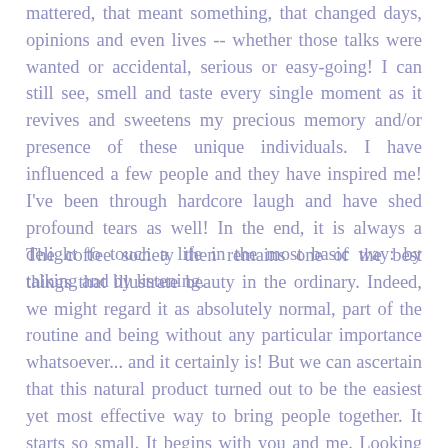mattered, that meant something, that changed days, opinions and even lives -- whether those talks were wanted or accidental, serious or easy-going! I can still see, smell and taste every single moment as it revives and sweetens my precious memory and/or presence of these unique individuals. I have influenced a few people and they have inspired me! I've been through hardcore laugh and have shed profound tears as well! In the end, it is always a delight to touch a life in the most basic way: by talking and by listening.
The coffee society then remains one of the best things that illustrate beauty in the ordinary. Indeed, we might regard it as absolutely normal, part of the routine and being without any particular importance whatsoever... and it certainly is! But we can ascertain that this natural product turned out to be the easiest yet most effective way to bring people together. It starts so small. It begins with you and me. Looking into each other's eyes... And God knows that having two persons intertwined has the possibility to trigger a bigger-than-life follow-through. Interacting, discussing, sharing, reaching out, enjoying and literally crashing into each other's lives -- is sight for sore eyes. And doesn't the coffee make the ride